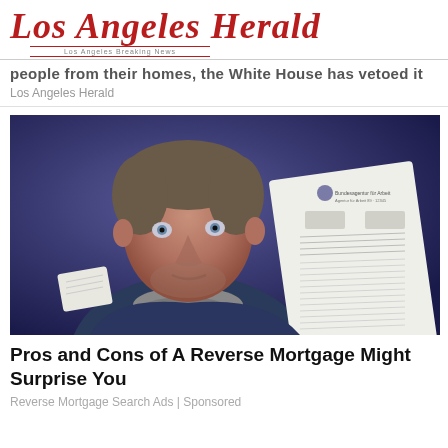Los Angeles Herald
people from their homes, the White House has vetoed it
Los Angeles Herald
[Figure (photo): A middle-aged man with grey-brown hair and a scarf holding up official-looking documents, with a blue background]
Pros and Cons of A Reverse Mortgage Might Surprise You
Reverse Mortgage Search Ads | Sponsored